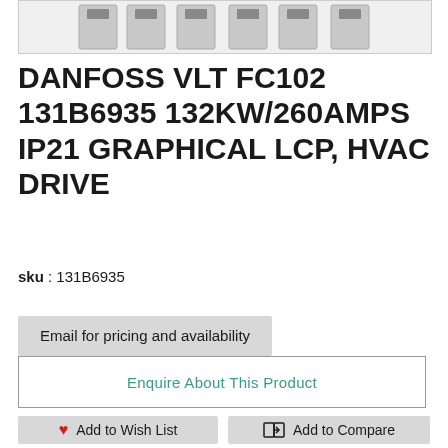[Figure (photo): Product photo showing multiple Danfoss VLT FC102 HVAC drive units in grey casing]
DANFOSS VLT FC102 131B6935 132KW/260AMPS IP21 GRAPHICAL LCP, HVAC DRIVE
sku : 131B6935
Email for pricing and availability
Enquire About This Product
Add to Wish List
Add to Compare